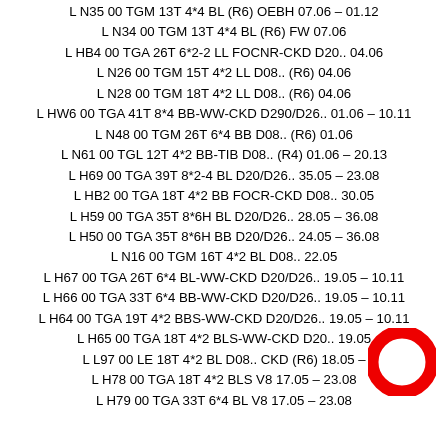L N35 00 TGM 13T 4*4 BL (R6) OEBH 07.06 – 01.12
L N34 00 TGM 13T 4*4 BL (R6) FW 07.06
L HB4 00 TGA 26T 6*2-2 LL FOCNR-CKD D20.. 04.06
L N26 00 TGM 15T 4*2 LL D08.. (R6) 04.06
L N28 00 TGM 18T 4*2 LL D08.. (R6) 04.06
L HW6 00 TGA 41T 8*4 BB-WW-CKD D290/D26.. 01.06 – 10.11
L N48 00 TGM 26T 6*4 BB D08.. (R6) 01.06
L N61 00 TGL 12T 4*2 BB-TIB D08.. (R4) 01.06 – 20.13
L H69 00 TGA 39T 8*2-4 BL D20/D26.. 35.05 – 23.08
L HB2 00 TGA 18T 4*2 BB FOCR-CKD D08.. 30.05
L H59 00 TGA 35T 8*6H BL D20/D26.. 28.05 – 36.08
L H50 00 TGA 35T 8*6H BB D20/D26.. 24.05 – 36.08
L N16 00 TGM 16T 4*2 BL D08.. 22.05
L H67 00 TGA 26T 6*4 BL-WW-CKD D20/D26.. 19.05 – 10.11
L H66 00 TGA 33T 6*4 BB-WW-CKD D20/D26.. 19.05 – 10.11
L H64 00 TGA 19T 4*2 BBS-WW-CKD D20/D26.. 19.05 – 10.11
L H65 00 TGA 18T 4*2 BLS-WW-CKD D20.. 19.05
L L97 00 LE 18T 4*2 BL D08.. CKD (R6) 18.05 –
L H78 00 TGA 18T 4*2 BLS V8 17.05 – 23.08
L H79 00 TGA 33T 6*4 BL V8 17.05 – 23.08
[Figure (logo): Red circular ring logo (letter O shape) in bottom-right area]